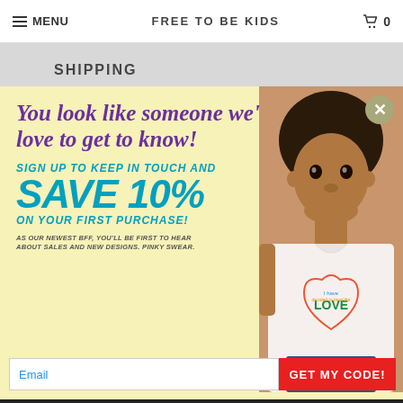MENU | FREE TO BE KIDS | 0
SHIPPING
RETURNS
CONTACT
[Figure (screenshot): Popup overlay on a children's clothing ecommerce website 'Free to Be Kids'. Yellow background popup with a child model wearing a white t-shirt with a colorful heart/LOVE design. Text: 'You look like someone we'd love to get to know! SIGN UP TO KEEP IN TOUCH AND SAVE 10% ON YOUR FIRST PURCHASE! AS OUR NEWEST BFF, YOU'LL BE FIRST TO HEAR ABOUT SALES AND NEW DESIGNS. PINKY SWEAR.' Email input field and GET MY CODE! button.]
SAVE 10%